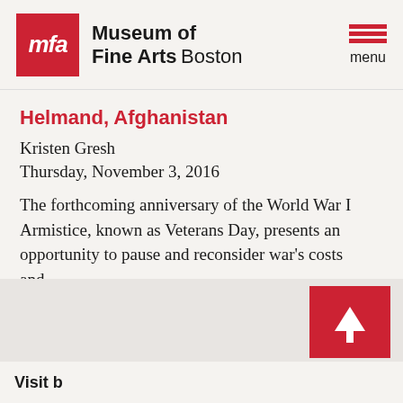Museum of Fine Arts Boston
Helmand, Afghanistan
Kristen Gresh
Thursday, November 3, 2016
The forthcoming anniversary of the World War I Armistice, known as Veterans Day, presents an opportunity to pause and reconsider war's costs and…
ISSUE: HOW IS THIS POLITICAL?
Visit b...